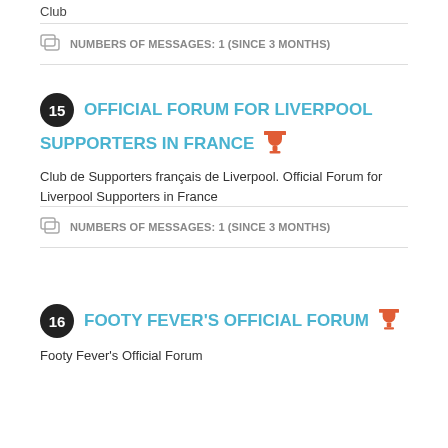Club
NUMBERS OF MESSAGES: 1 (SINCE 3 MONTHS)
15 OFFICIAL FORUM FOR LIVERPOOL SUPPORTERS IN FRANCE
Club de Supporters français de Liverpool. Official Forum for Liverpool Supporters in France
NUMBERS OF MESSAGES: 1 (SINCE 3 MONTHS)
16 FOOTY FEVER'S OFFICIAL FORUM
Footy Fever's Official Forum